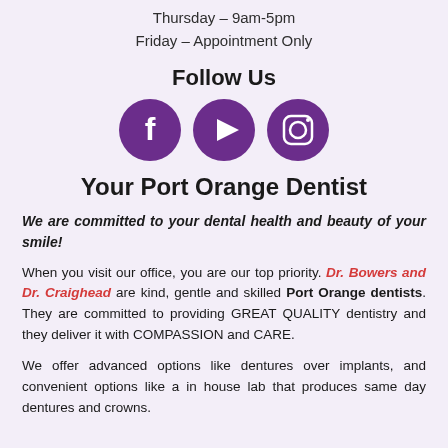Thursday – 9am-5pm
Friday – Appointment Only
Follow Us
[Figure (illustration): Three purple circle social media icons: Facebook, YouTube, and Instagram]
Your Port Orange Dentist
We are committed to your dental health and beauty of your smile!
When you visit our office, you are our top priority. Dr. Bowers and Dr. Craighead are kind, gentle and skilled Port Orange dentists. They are committed to providing GREAT QUALITY dentistry and they deliver it with COMPASSION and CARE.
We offer advanced options like dentures over implants, and convenient options like a in house lab that produces same day dentures and crowns.